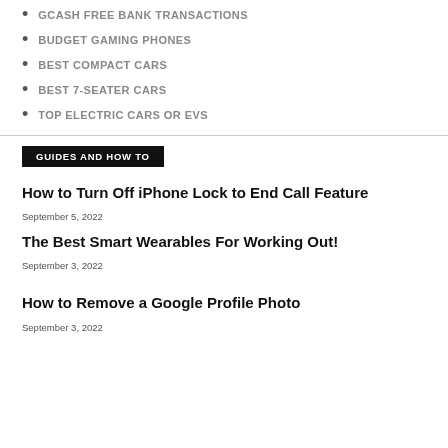GCASH FREE BANK TRANSACTIONS
BUDGET GAMING PHONES
BEST COMPACT CARS
BEST 7-SEATER CARS
TOP ELECTRIC CARS OR EVs
GUIDES AND HOW TO
How to Turn Off iPhone Lock to End Call Feature
September 5, 2022
The Best Smart Wearables For Working Out!
September 3, 2022
How to Remove a Google Profile Photo
September 3, 2022